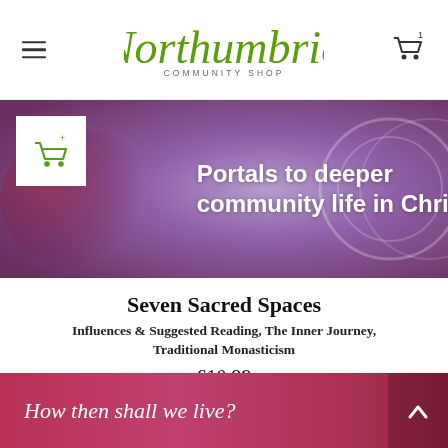Northumbria Community Shop
[Figure (screenshot): Banner image with purple/mauve background showing text 'Portals to deeper community life in Christ' with a white add-to-cart button on the left]
Seven Sacred Spaces
Influences & Suggested Reading, The Inner Journey, Traditional Monasticism
£10.99
[Figure (screenshot): Red/crimson banner at bottom with italic text 'How then shall we live?' and an up-arrow chevron button on the right]